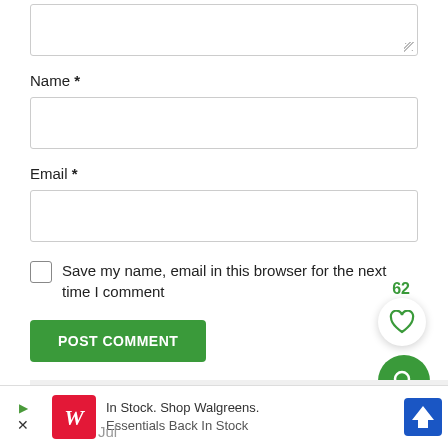Name *
Email *
Save my name, email in this browser for the next time I comment
POST COMMENT
62
ONE COMMENT
In Stock. Shop Walgreens. Essentials Back In Stock